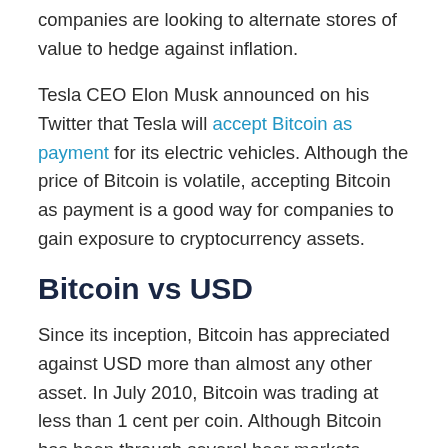companies are looking to alternate stores of value to hedge against inflation.
Tesla CEO Elon Musk announced on his Twitter that Tesla will accept Bitcoin as payment for its electric vehicles. Although the price of Bitcoin is volatile, accepting Bitcoin as payment is a good way for companies to gain exposure to cryptocurrency assets.
Bitcoin vs USD
Since its inception, Bitcoin has appreciated against USD more than almost any other asset. In July 2010, Bitcoin was trading at less than 1 cent per coin. Although Bitcoin has been through several bear markets where its value diminished over 80%,